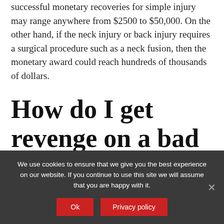successful monetary recoveries for simple injury may range anywhere from $2500 to $50,000. On the other hand, if the neck injury or back injury requires a surgical procedure such as a neck fusion, then the monetary award could reach hundreds of thousands of dollars.
How do I get revenge on a bad roommate?
We use cookies to ensure that we give you the best experience on our website. If you continue to use this site we will assume that you are happy with it.